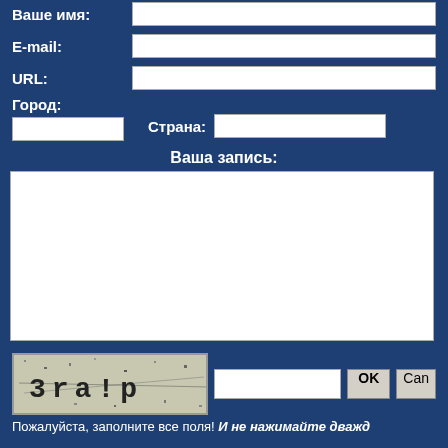Ваше имя:
E-mail:
URL:
Город:
Страна:
Ваша запись:
[Figure (other): CAPTCHA image showing distorted text '3ra!p' on noisy background]
Пожалуйста, заполните все поля! И не нажимайте дважды
Pages: 1 2 3 4 5 6 7 8 9 10 11 12 13 14 15 16 17 18 19 ... 20